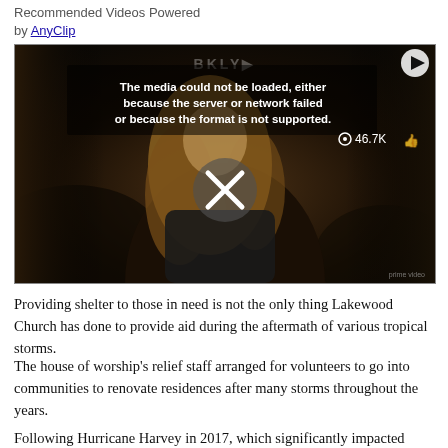Recommended Videos Powered by AnyClip
[Figure (screenshot): Embedded video player showing an error message 'The media could not be loaded, either because the server or network failed or because the format is not supported.' with a dark background showing a blonde woman and an X close button overlay. View count shows 46.7K.]
Providing shelter to those in need is not the only thing Lakewood Church has done to provide aid during the aftermath of various tropical storms.
The house of worship’s relief staff arranged for volunteers to go into communities to renovate residences after many storms throughout the years.
Following Hurricane Harvey in 2017, which significantly impacted